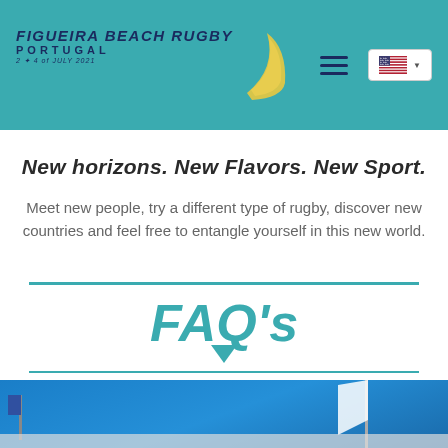[Figure (logo): Figueira Beach Rugby Portugal logo with swoosh design on teal header bar, with hamburger menu and US flag language selector]
New horizons. New Flavors. New Sport.
Meet new people, try a different type of rugby, discover new countries and feel free to entangle yourself in this new world.
FAQ's
[Figure (photo): Blue sky photo with flags at the bottom of the page]